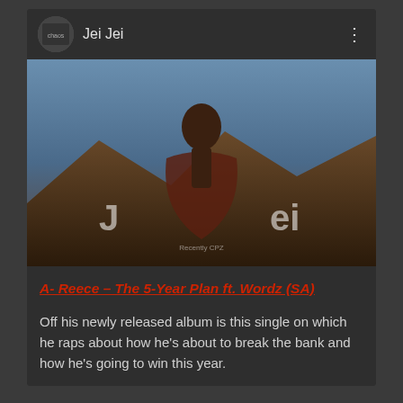[Figure (screenshot): YouTube video embed showing 'Jei Jei' channel with album art thumbnail and red play button overlay]
A- Reece – The 5-Year Plan ft. Wordz (SA)
Off his newly released album is this single on which he raps about how he's about to break the bank and how he's going to win this year.